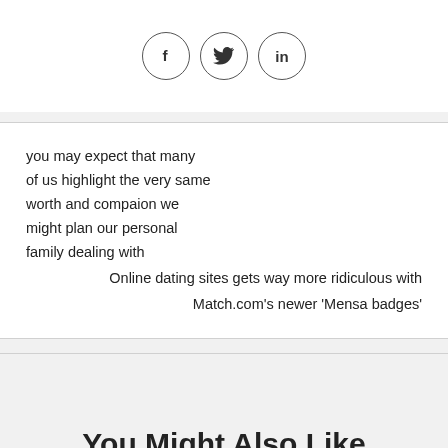[Figure (other): Three social media icon circles: Facebook (f), Twitter (bird), LinkedIn (in)]
you may expect that many of us highlight the very same worth and compaion we might plan our personal family dealing with
Online dating sites gets way more ridiculous with Match.com's newer 'Mensa badges'
You Might Also Like